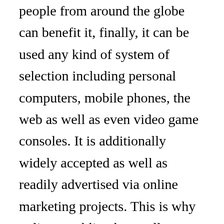people from around the globe can benefit it, finally, it can be used any kind of system of selection including personal computers, mobile phones, the web as well as even video game consoles. It is additionally widely accepted as well as readily advertised via online marketing projects. This is why online gambling has really come to be a sensation in recent times. If you are a follower of casino site video games and betting after that this may be the best remedy to make some money.